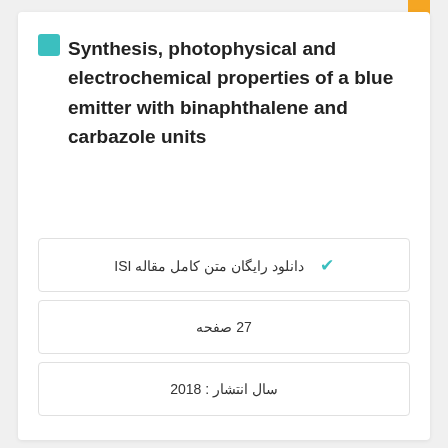Synthesis, photophysical and electrochemical properties of a blue emitter with binaphthalene and carbazole units
Keywords: واکنش سوزوکی; Blue emitter; Property; Suzuki reaction; Naphthalene; Carbazole;
✔ دانلود رایگان متن کامل مقاله ISI
27 صفحه
سال انتشار : 2018